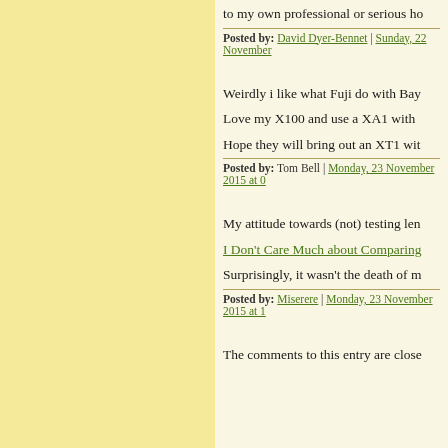to my own professional or serious ho
Posted by: David Dyer-Bennet | Sunday, 22 November
Weirdly i like what Fuji do with Bay
Love my X100 and use a XA1 with
Hope they will bring out an XT1 wit
Posted by: Tom Bell | Monday, 23 November 2015 at 0
My attitude towards (not) testing len
I Don't Care Much about Comparing
Surprisingly, it wasn't the death of m
Posted by: Miserere | Monday, 23 November 2015 at 1
The comments to this entry are close